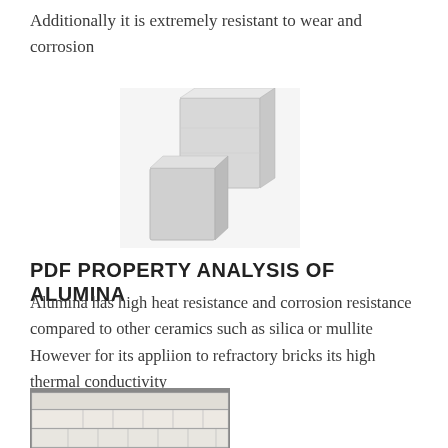Additionally it is extremely resistant to wear and corrosion
[Figure (photo): Two light grey alumina ceramic refractory bricks stacked together on white background]
PDF PROPERTY ANALYSIS OF ALUMINA
Alumina has high heat resistance and corrosion resistance compared to other ceramics such as silica or mullite However for its appliion to refractory bricks its high thermal conductivity
[Figure (photo): Stacked white alumina refractory bricks in a warehouse or storage facility, bricks arranged in layers with labels visible]